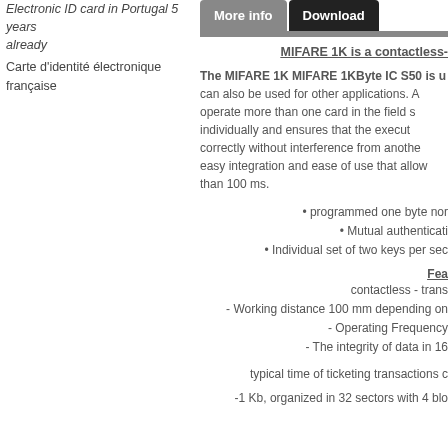Electronic ID card in Portugal 5 years already
Carte d'identité électronique française
More info | Download
MIFARE 1K is a contactless-
The MIFARE 1K MIFARE 1KByte IC S50 is u can also be used for other applications. A operate more than one card in the field s individually and ensures that the execut correctly without interference from anothe easy integration and ease of use that allow than 100 ms.
• programmed one byte nor
• Mutual authenticati
• Individual set of two keys per sec
Fea
contactless - trans
- Working distance 100 mm depending on
- Operating Frequency
- The integrity of data in 16
typical time of ticketing transactions c
-1 Kb, organized in 32 sectors with 4 blo